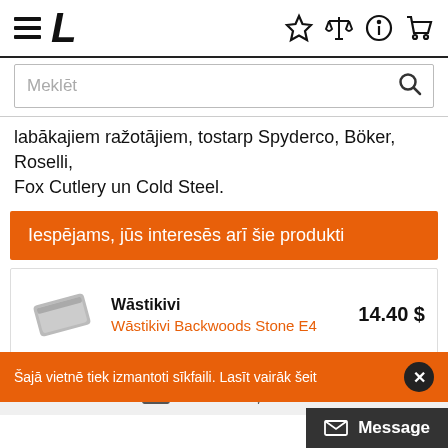Navigation header with hamburger menu, logo L, and icons: star, scales, info, cart
Meklēt
labākajiem ražotājiem, tostarp Spyderco, Böker, Roselli, Fox Cutlery un Cold Steel.
Iespējams, jūs interesēs arī šie produkti
| Product | Name | Price |
| --- | --- | --- |
| Wāstikivi | Wāstikivi Backwoods Stone E4 | 14.40 $ |
Abonēt biļetenu
Šajā vietnē tiek izmantoti sīkfaili. Lasīt vairāk šeit
Message